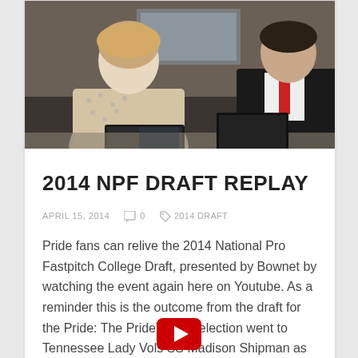[Figure (photo): Two people sitting at a table with laptops, one in a patterned top and one in a dark suit, appearing to be at a draft event]
2014 NPF DRAFT REPLAY
APRIL 15, 2014   0   2014 DRAFT
Pride fans can relive the 2014 National Pro Fastpitch College Draft, presented by Bownet by watching the event again here on Youtube. As a reminder this is the outcome from the draft for the Pride: The Pride's first selection went to Tennessee Lady Vols SS Madison Shipman as the second overall pick. The Pride then…
[Figure (logo): YouTube red logo partially visible at bottom of page]